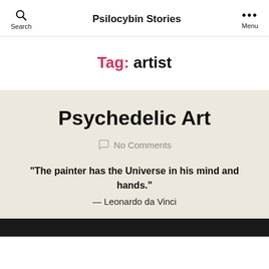Search | Psilocybin Stories | Menu
Tag: artist
Psychedelic Art
No Comments
“The painter has the Universe in his mind and hands.” — Leonardo da Vinci